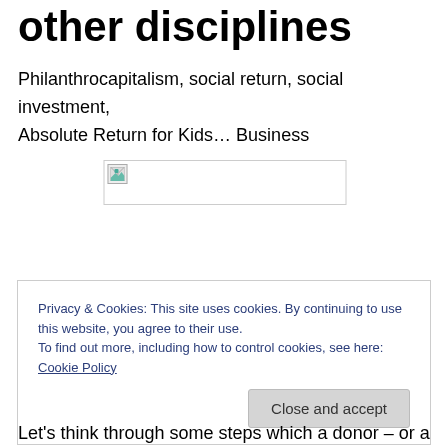other disciplines
Philanthrocapitalism, social return, social investment, Absolute Return for Kids… Business
[Figure (photo): Broken/unloaded image placeholder]
Privacy & Cookies: This site uses cookies. By continuing to use this website, you agree to their use.
To find out more, including how to control cookies, see here: Cookie Policy
Close and accept
Let's think through some steps which a donor – or a